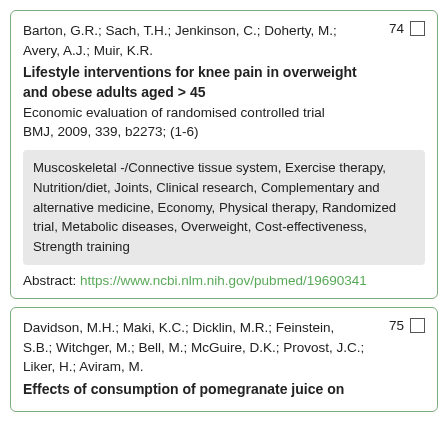Barton, G.R.; Sach, T.H.; Jenkinson, C.; Doherty, M.; Avery, A.J.; Muir, K.R.
Lifestyle interventions for knee pain in overweight and obese adults aged > 45
Economic evaluation of randomised controlled trial
BMJ, 2009, 339, b2273; (1-6)
Muscoskeletal -/Connective tissue system, Exercise therapy, Nutrition/diet, Joints, Clinical research, Complementary and alternative medicine, Economy, Physical therapy, Randomized trial, Metabolic diseases, Overweight, Cost-effectiveness, Strength training
Abstract: https://www.ncbi.nlm.nih.gov/pubmed/19690341
Davidson, M.H.; Maki, K.C.; Dicklin, M.R.; Feinstein, S.B.; Witchger, M.; Bell, M.; McGuire, D.K.; Provost, J.C.; Liker, H.; Aviram, M.
Effects of consumption of pomegranate juice on